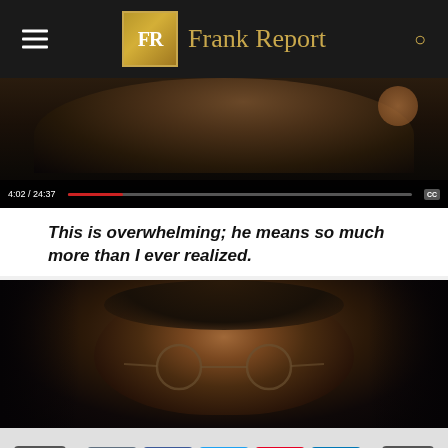Frank Report
[Figure (screenshot): Video player screenshot showing timestamp 4:02 / 24:37 with progress bar and CC button, dark background with person visible]
This is overwhelming; he means so much more than I ever realized.
[Figure (photo): Close-up photo of a man with round glasses and dark hair against a dark background, appearing to be Keith Raniere]
Social sharing bar with navigation arrows and share buttons: comment, Facebook, Twitter, Pinterest, LinkedIn